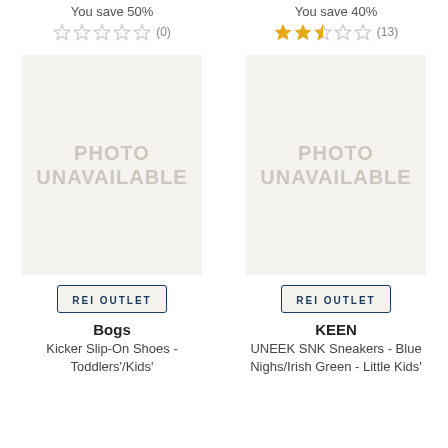You save 50%
☆☆☆☆☆ (0)
[Figure (photo): Photo unavailable placeholder for left product]
REI OUTLET
Bogs
Kicker Slip-On Shoes - Toddlers'/Kids'
You save 40%
★★★☆☆ (13)
[Figure (photo): Photo unavailable placeholder for right product]
REI OUTLET
KEEN
UNEEK SNK Sneakers - Blue Nighs/Irish Green - Little Kids'